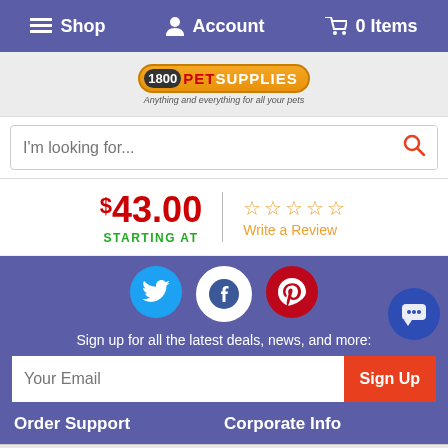Shop  Account  0 Items
[Figure (logo): 1800PetSupplies logo with tagline 'Anything and everything for all your pets']
I'm looking for...
$43.00 STARTING AT
Write a Review
[Figure (infographic): Twitter, Facebook, and Pinterest social share icons]
Sign up for all the latest deals, news, and more:
Your Email  Sign Up
Order Support  Corporate Info
By Continuing to use our site, you consent to our use of cookies to improve your experience. Learn more
- 1 +  Add to Cart